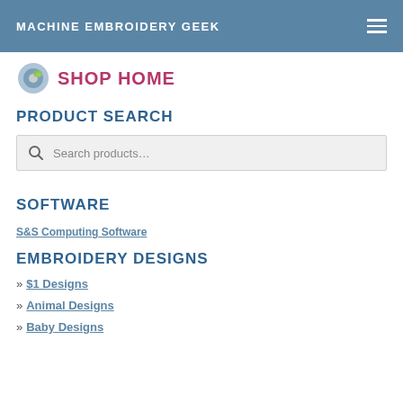MACHINE EMBROIDERY GEEK
SHOP HOME
PRODUCT SEARCH
Search products…
SOFTWARE
S&S Computing Software
EMBROIDERY DESIGNS
» $1 Designs
» Animal Designs
» Baby Designs